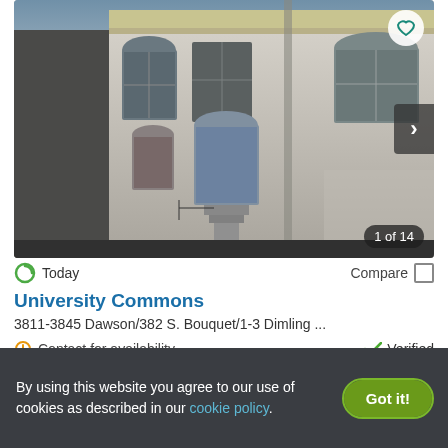[Figure (photo): Exterior photo of University Commons apartment building — white/cream brick facade with arched windows and ornate detailing. Shows 1 of 14 photos.]
Today
Compare
University Commons
3811-3845 Dawson/382 S. Bouquet/1-3 Dimling ...
Contact for availability
Verified
By using this website you agree to our use of cookies as described in our cookie policy.